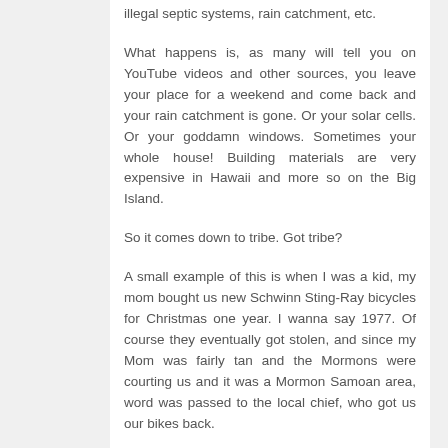illegal septic systems, rain catchment, etc.
What happens is, as many will tell you on YouTube videos and other sources, you leave your place for a weekend and come back and your rain catchment is gone. Or your solar cells. Or your goddamn windows. Sometimes your whole house! Building materials are very expensive in Hawaii and more so on the Big Island.
So it comes down to tribe. Got tribe?
A small example of this is when I was a kid, my mom bought us new Schwinn Sting-Ray bicycles for Christmas one year. I wanna say 1977. Of course they eventually got stolen, and since my Mom was fairly tan and the Mormons were courting us and it was a Mormon Samoan area, word was passed to the local chief, who got us our bikes back.
Areas like this are pretty much WROL and it's all